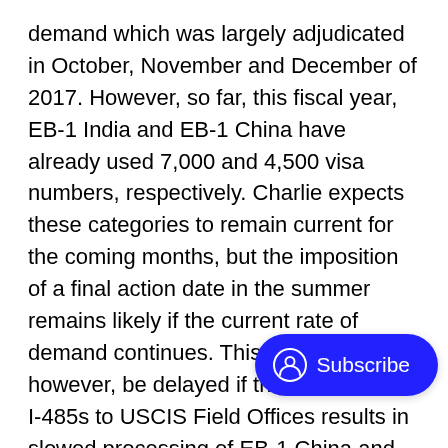demand which was largely adjudicated in October, November and December of 2017. However, so far, this fiscal year, EB-1 India and EB-1 China have already used 7,000 and 4,500 visa numbers, respectively. Charlie expects these categories to remain current for the coming months, but the imposition of a final action date in the summer remains likely if the current rate of demand continues. This could, however, be delayed if the transition of I-485s to USCIS Field Offices results in slowed processing of EB-1 China and EB-1 India cases in the coming months.
EB-2 Worldwide: This category should remain current for the foreseeable futu…
EB-2 and EB-3 China: As stated in my last